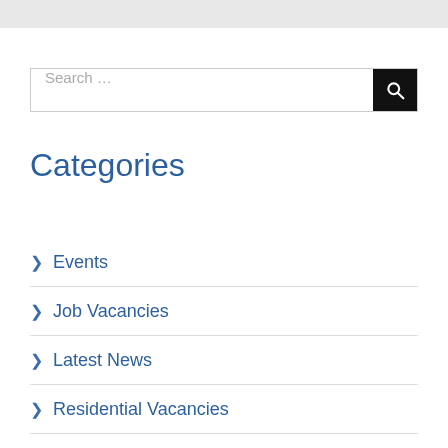Search ...
Categories
Events
Job Vacancies
Latest News
Residential Vacancies
Uncategorized